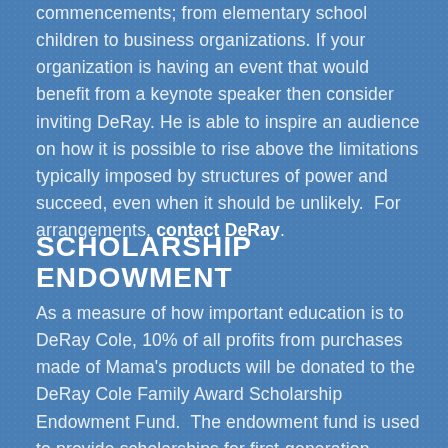commencements; from elementary school children to business organizations. If your organization is having an event that would benefit from a keynote speaker then consider inviting DeRay. He is able to inspire an audience on how it is possible to rise above the limitations typically imposed by structures of power and succeed, even when it should be unlikely.  For arrangements, contact DeRay.
SCHOLARSHIP ENDOWMENT
As a measure of how important education is to DeRay Cole, 10% of all profits from purchases made of Mama's products will be donated to the DeRay Cole Family Award Scholarship Endowment Fund.  The endowment fund is used to provide scholarships for first-generation students who are rising freshmen, majoring in business at the University of Arkansas at Pine Bluff – DeRay Cole's alma mater.